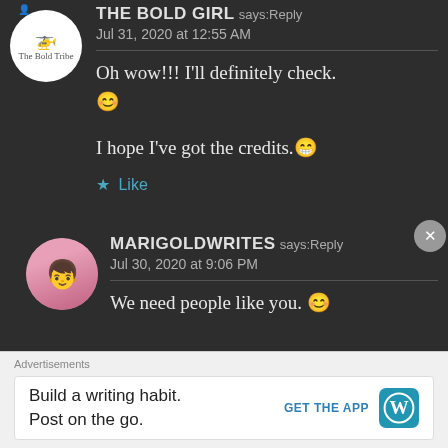THE BOLD GIRL says: Reply
Jul 31, 2020 at 12:55 AM
Oh wow!!! I'll definitely check. 😊
I hope I've got the credits. 😁
★ Like
MARIGOLDWRITES says: Reply
Jul 30, 2020 at 9:06 PM
We need people like you. 🙂
Advertisements
Build a writing habit.
Post on the go.
GET THE APP